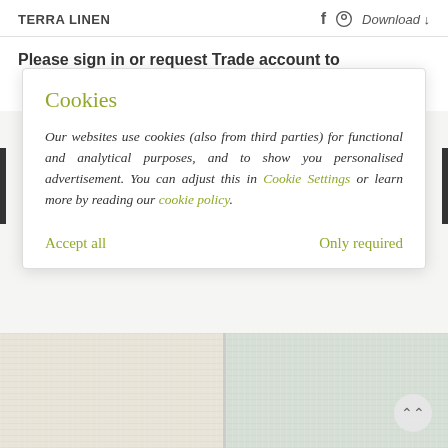TERRA LINEN   f   Download
Please sign in or request Trade account to
View your price
View inventory status
Cookies
Our websites use cookies (also from third parties) for functional and analytical purposes, and to show you personalised advertisement. You can adjust this in Cookie Settings or learn more by reading our cookie policy.
Accept all
Only required
[Figure (photo): Two fabric swatches side by side: left is a cream/beige linen texture, right is a pale sage green linen texture. A circular scroll-up button with double chevron arrows is visible on the bottom right.]